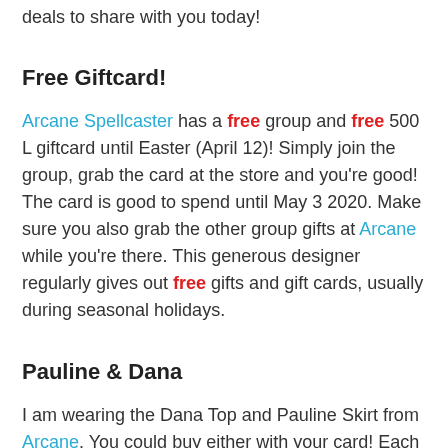deals to share with you today!
Free Giftcard!
Arcane Spellcaster has a free group and free 500 L giftcard until Easter (April 12)! Simply join the group, grab the card at the store and you're good! The card is good to spend until May 3 2020. Make sure you also grab the other group gifts at Arcane while you're there. This generous designer regularly gives out free gifts and gift cards, usually during seasonal holidays.
Pauline & Dana
I am wearing the Dana Top and Pauline Skirt from Arcane. You could buy either with your card! Each item is a full fatpack. I love these two and together they make a great outfit. I can be wearing a gift and from the store together.